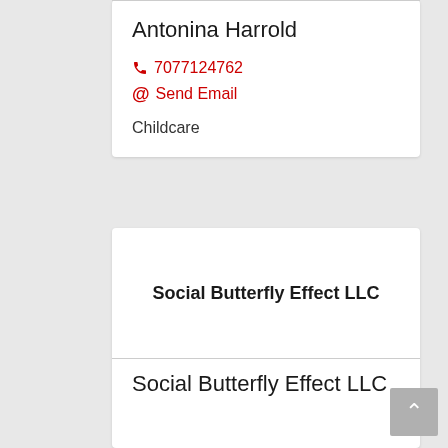Antonina Harrold
7077124762
Send Email
Childcare
Social Butterfly Effect LLC
Social Butterfly Effect LLC